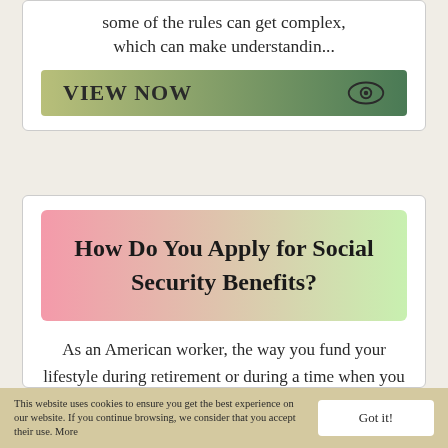some of the rules can get complex, which can make understandin...
[Figure (other): Green gradient button labeled VIEW NOW with an eye icon on the right]
How Do You Apply for Social Security Benefits?
As an American worker, the way you fund your lifestyle during retirement or during a time when you become disabled and can't work will likely include Social Security benefits...
This website uses cookies to ensure you get the best experience on our website. If you continue browsing, we consider that you accept their use. More